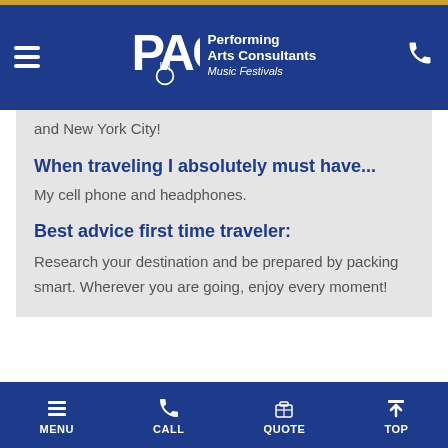Performing Arts Consultants Music Festivals
and New York City!
When traveling I absolutely must have...
My cell phone and headphones.
Best advice first time traveler:
Research your destination and be prepared by packing smart. Wherever you are going, enjoy every moment!
MENU  CALL  QUOTE  TOP